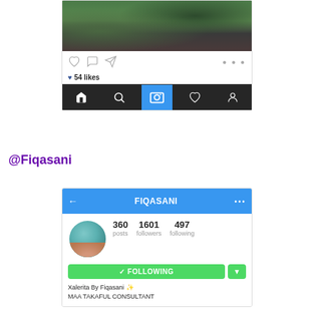[Figure (screenshot): Instagram post screenshot showing a photo of a person outdoors in a forest/nature setting with action icons (heart, comment, share), 54 likes, and the Instagram navigation bar at the bottom]
@Fiqasani
[Figure (screenshot): Instagram profile page screenshot for user FIQASANI showing profile photo, 360 posts, 1601 followers, 497 following, a green FOLLOWING button, bio text 'Xalerita By Fiqasani ✨' and 'MAA TAKAFUL CONSULTANT']